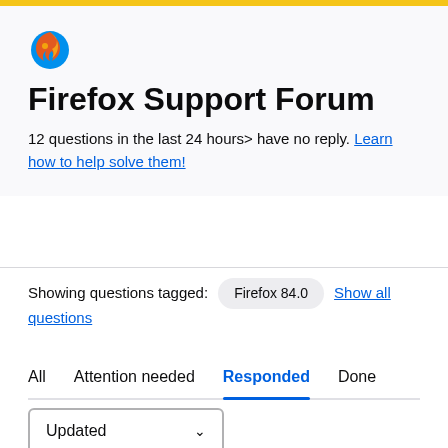[Figure (logo): Firefox browser logo — flame and globe icon]
Firefox Support Forum
12 questions in the last 24 hours> have no reply. Learn how to help solve them!
Showing questions tagged: Firefox 84.0  Show all questions
All  Attention needed  Responded  Done
Updated